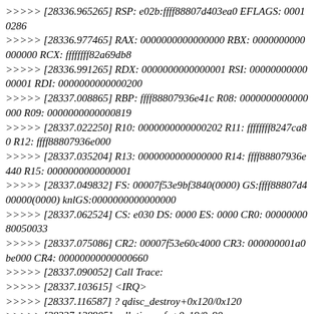>>>>> [28336.965265] RSP: e02b:ffff88807d403ea0 EFLAGS: 00010286
>>>>> [28336.977465] RAX: 0000000000000000 RBX: 0000000000000000 RCX: ffffffff82a69db8
>>>>> [28336.991265] RDX: 0000000000000001 RSI: 0000000000000001 RDI: 0000000000000200
>>>>> [28337.008865] RBP: ffff88807936e41c R08: 0000000000000000 R09: 0000000000000819
>>>>> [28337.022250] R10: 0000000000000202 R11: ffffffff8247ca80 R12: ffff88807936e000
>>>>> [28337.035204] R13: 0000000000000000 R14: ffff88807936e440 R15: 0000000000000001
>>>>> [28337.049832] FS: 00007f53e9bf3840(0000) GS:ffff88807d400000(0000) knlGS:0000000000000000
>>>>> [28337.062524] CS: e030 DS: 0000 ES: 0000 CR0: 0000000080050033
>>>>> [28337.075086] CR2: 00007f53e60c4000 CR3: 000000001a0be000 CR4: 00000000000000660
>>>>> [28337.090052] Call Trace:
>>>>> [28337.103615] <IRQ>
>>>>> [28337.116587] ? qdisc_destroy+0x120/0x120
>>>>> [28337.128905] call_timer_fn+0x19/0x90
>>>>> [28337.141892] expire_timers+0x8b/0xa0
>>>>> [28337.153354] run_timer_softirq+0x7e/0x160
>>>>> [28337.165931] ? handle_irq_event_percpu+0x4c/0x70